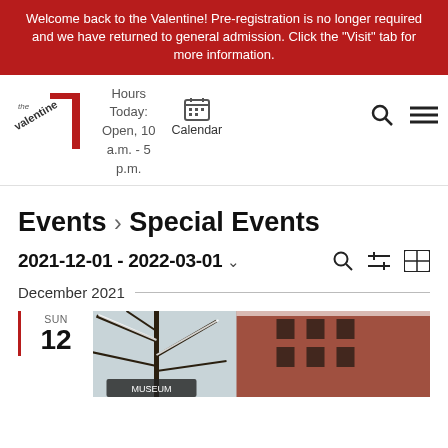Welcome back to the Valentine! Pre-registration is no longer required and we have returned to general admission. Click the "Visit" tab for more information.
[Figure (logo): The Valentine museum logo — stylized text 'the valentine' with a red angular bracket graphic]
Hours Today: Open, 10 a.m. - 5 p.m.
Calendar
Events › Special Events
2021-12-01 - 2022-03-01 ˅
December 2021
SUN
12
[Figure (photo): Winter scene showing snow-covered tree branches in front of a red brick building, with a partially visible sign in the foreground]